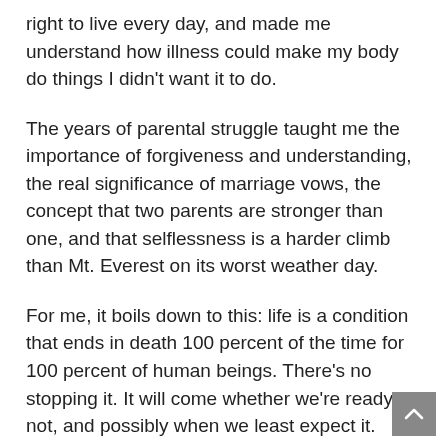right to live every day, and made me understand how illness could make my body do things I didn't want it to do.
The years of parental struggle taught me the importance of forgiveness and understanding, the real significance of marriage vows, the concept that two parents are stronger than one, and that selflessness is a harder climb than Mt. Everest on its worst weather day.
For me, it boils down to this: life is a condition that ends in death 100 percent of the time for 100 percent of human beings. There's no stopping it. It will come whether we're ready or not, and possibly when we least expect it.